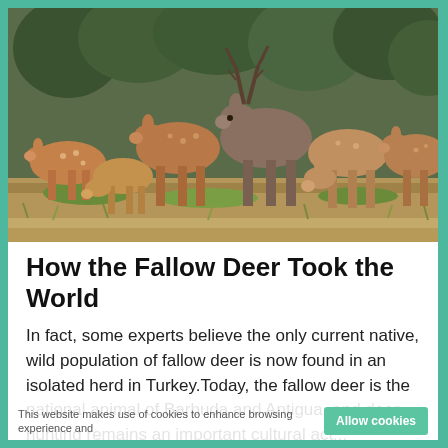[Figure (photo): A herd of fallow deer standing and grazing in a field. Multiple deer visible including a stag with antlers in the center background, several does, and fawns with spotted coats. Green trees in background, dry grass in foreground.]
How the Fallow Deer Took the World
In fact, some experts believe the only current native, wild population of fallow deer is now found in an isolated herd in Turkey.Today, the fallow deer is the national animal of Barbuda and Antigua, and deer hunting remains an important cultural act...
This website makes use of cookies to enhance browsing experience and